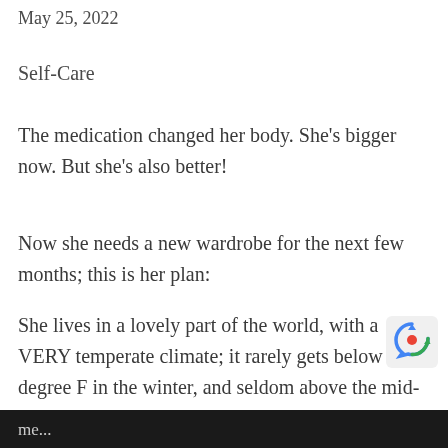May 25, 2022
Self-Care
The medication changed her body. She's bigger now. But she's also better!
Now she needs a new wardrobe for the next few months; this is her plan:
She lives in a lovely part of the world, with a VERY temperate climate; it rarely gets below 29 degree F in the winter, and seldom above the mid-70s in the summer! Sounds like heaven to me...